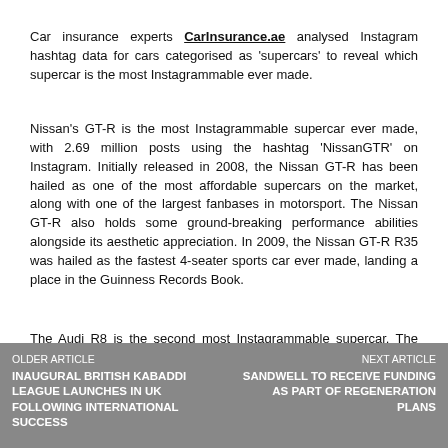Car insurance experts CarInsurance.ae analysed Instagram hashtag data for cars categorised as 'supercars' to reveal which supercar is the most Instagrammable ever made.
Nissan's GT-R is the most Instagrammable supercar ever made, with 2.69 million posts using the hashtag 'NissanGTR' on Instagram. Initially released in 2008, the Nissan GT-R has been hailed as one of the most affordable supercars on the market, along with one of the largest fanbases in motorsport. The Nissan GT-R also holds some ground-breaking performance abilities alongside its aesthetic appreciation. In 2009, the Nissan GT-R R35 was hailed as the fastest 4-seater sports car ever made, landing a place in the Guinness Records Book.
The Audi R8 is the second most Instagrammable supercar. The hashtag 'AudiR8' featured in 1.85 million posts on Instagram. First introduced to the market in 2006, the Audi R8 has two model generations, the Type 42 (2006-2015) and the Type 45 ...
OLDER ARTICLE | INAUGURAL BRITISH KABADDI LEAGUE LAUNCHES IN UK FOLLOWING INTERNATIONAL SUCCESS | NEXT ARTICLE | SANDWELL TO RECEIVE FUNDING AS PART OF REGENERATION PLANS